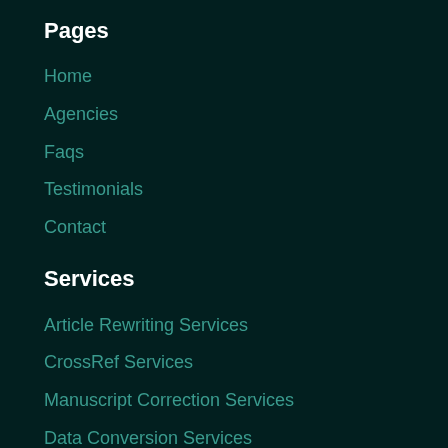Pages
Home
Agencies
Faqs
Testimonials
Contact
Services
Article Rewriting Services
CrossRef Services
Manuscript Correction Services
Data Conversion Services
Publish Abstract Services
Publication
Türkiye Lidar Dergisi